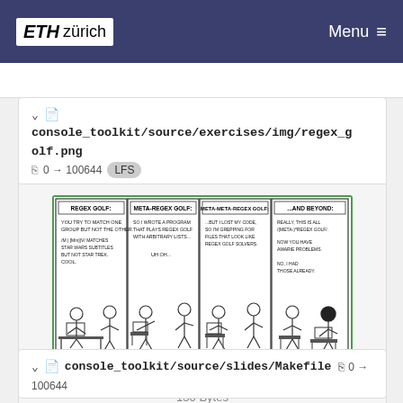ETH zürich  Menu
console_toolkit/source/exercises/img/regex_golf.png  0 → 100644  LFS
[Figure (illustration): XKCD comic strip with 4 panels about Regex Golf, Meta-Regex Golf, Meta-Meta-Regex Golf, and ...AND BEYOND. Panel 1: REGEX GOLF: YOU TRY TO MATCH ONE GROUP BUT NOT THE OTHER. /M | [Mm]|V/ MATCHES STAR WARS SUBTITLES BUT NOT STAR TREK. COOL. Panel 2: META-REGEX GOLF: SO I WROTE A PROGRAM THAT PLAYS REGEX GOLF WITH ARBITRARY LISTS... UH OH... Panel 3: META-META-REGEX GOLF: ...BUT I LOST MY CODE, SO I'M GREPPING FOR FILES THAT LOOK LIKE REGEX GOLF SOLVERS. Panel 4: ...AND BEYOND: REALLY, THIS IS ALL /(META-)*REGEX GOLF/. NOW YOU HAVE AWARIE PROBLEMS. NO, I HAD THOSE ALREADY.]
130 Bytes
console_toolkit/source/slides/Makefile  0 → 100644